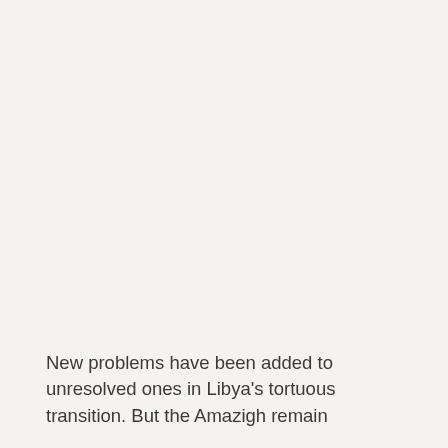New problems have been added to unresolved ones in Libya's tortuous transition. But the Amazigh remain